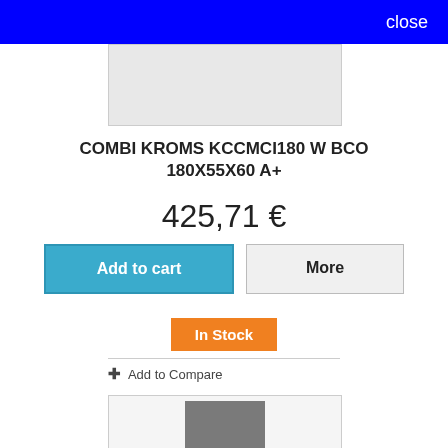close
[Figure (photo): Partial product image at top, light gray background]
COMBI KROMS KCCMCI180 W BCO 180X55X60 A+
425,71 €
Add to cart
More
In Stock
+ Add to Compare
[Figure (photo): Product image of a gray refrigerator/combi unit with KROMS logo]